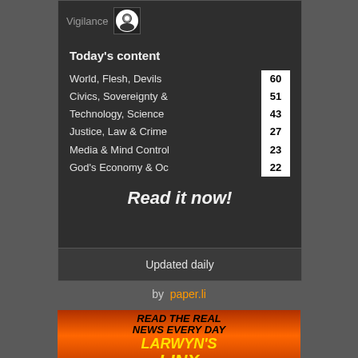Vigilance
Today's content
World, Flesh, Devils  60
Civics, Sovereignty &  51
Technology, Science  43
Justice, Law & Crime  27
Media & Mind Control  23
God's Economy & Oc  22
Read it now!
Updated daily
by  paper.li
[Figure (illustration): Larwyn's Linx banner — red/orange fire background with bold black and yellow text reading READ THE REAL NEWS EVERY DAY LARWYN'S LINX]